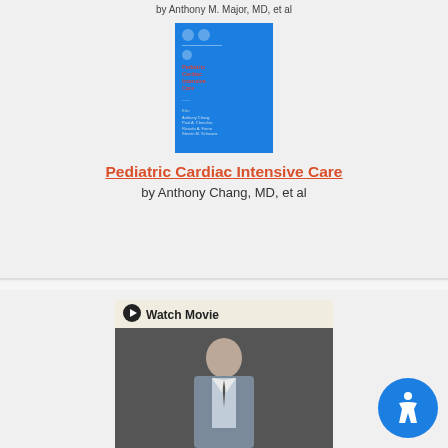by Anthony M. Major, MD, et al
[Figure (photo): Book cover of Pediatric Cardiac Intensive Care, blue cover with red and white text]
Pediatric Cardiac Intensive Care
by Anthony Chang, MD, et al
[Figure (screenshot): Watch Movie thumbnail showing a man in a suit with a play button and 'Watch Movie' text]
[Figure (illustration): Accessibility icon button, blue circle with white figure]